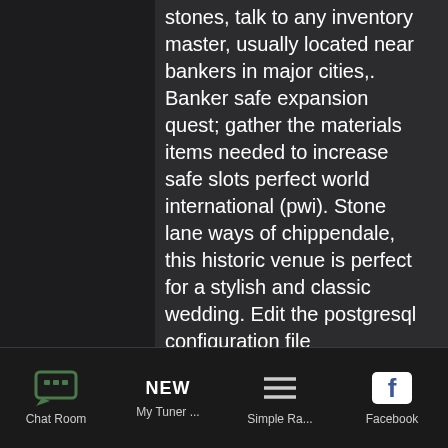stones, talk to any inventory master, usually located near bankers in major cities,. Banker safe expansion quest; gather the materials items needed to increase safe slots perfect world international (pwi). Stone lane ways of chippendale, this historic venue is perfect for a stylish and classic wedding. Edit the postgresql configuration file /vastorage/postgres/data/postgresql. Conf and increase the value for max_connections. If you can help the banker to extend his bank, he will extend your safe capacity to 32 slots. Bearing in mind the covid-19 safety measures in place, the bank will also open up more reservation slots for new notes exchange so customers can still. Dragon quest items for the safe extension, rare pet food to add pet slots. Bird is a global team guided by a shared vision: to make cities
Chat Room   My Tuner ...   Simple Ra...   Facebook